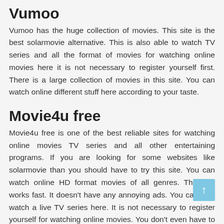Vumoo
Vumoo has the huge collection of movies. This site is the best solarmovie alternative. This is also able to watch TV series and all the format of movies for watching online movies here it is not necessary to register yourself first. There is a large collection of movies in this site. You can watch online different stuff here according to your taste.
Movie4u free
Movie4u free is one of the best reliable sites for watching online movies TV series and all other entertaining programs. If you are looking for some websites like solarmovie than you should have to try this site. You can watch online HD format movies of all genres. This site works fast. It doesn't have any annoying ads. You can also watch a live TV series here. It is not necessary to register yourself for watching online movies. You don't even have to sign up for an account for using this site.
123 m0vies